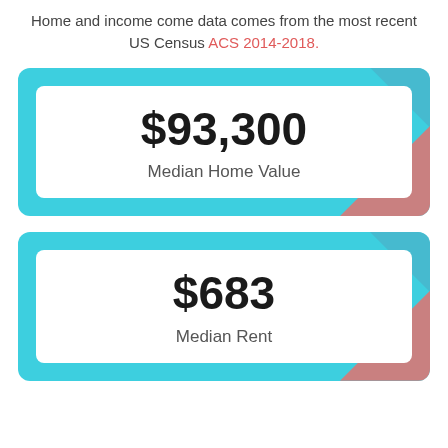Home and income come data comes from the most recent US Census ACS 2014-2018.
[Figure (infographic): Teal card with decorative geometric shapes showing $93,300 Median Home Value]
[Figure (infographic): Teal card with decorative geometric shapes showing $683 Median Rent]